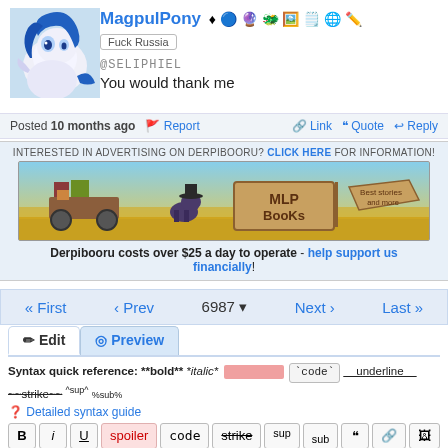[Figure (illustration): Avatar of MagpulPony, an illustrated blue-maned white pony character]
MagpulPony [badges] Fuck Russia
@SELIPHIEL
You would thank me
Posted 10 months ago  Report  Link  Quote  Reply
INTERESTED IN ADVERTISING ON DERPIBOORU? CLICK HERE FOR INFORMATION!
[Figure (illustration): MLP Books advertisement banner with cartoon pony and wagon with books]
Derpibooru costs over $25 a day to operate - help support us financially!
« First  ‹ Prev  6987 ▼  Next ›  Last »
Edit  Preview
Syntax quick reference: **bold** *italic* [spoiler] `code` __underline__ ~~strike~~ ^sup^ %sub%
? Detailed syntax guide
B  i  U  spoiler  code  strike  sup  sub  "  link  image